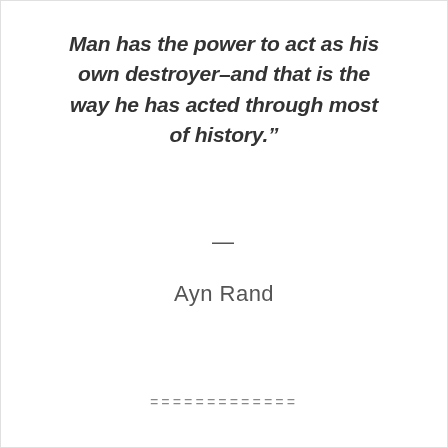Man has the power to act as his own destroyer–and that is the way he has acted through most of history."
—
Ayn Rand
=============